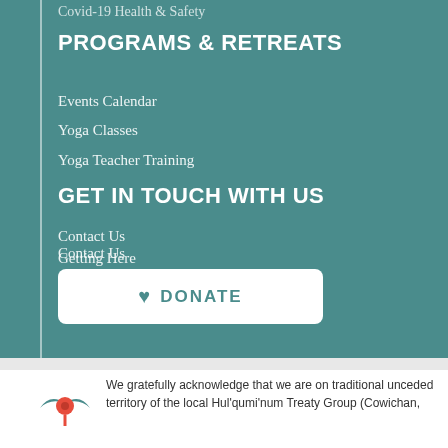Covid-19 Health & Safety
PROGRAMS & RETREATS
Events Calendar
Yoga Classes
Yoga Teacher Training
GET IN TOUCH WITH US
Contact Us
Getting Here
The Centre News
DONATE
We gratefully acknowledge that we are on traditional unceded territory of the local Hul'qumi'num Treaty Group (Cowichan,